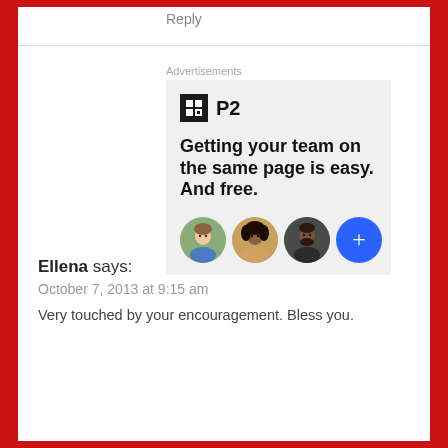Reply
Advertisements
[Figure (screenshot): P2 advertisement banner: logo with 'P2' text, headline 'Getting your team on the same page is easy. And free.' with three circular profile photo avatars and a blue plus button]
Ellena says:
October 7, 2013 at 9:15 am
Very touched by your encouragement. Bless you.